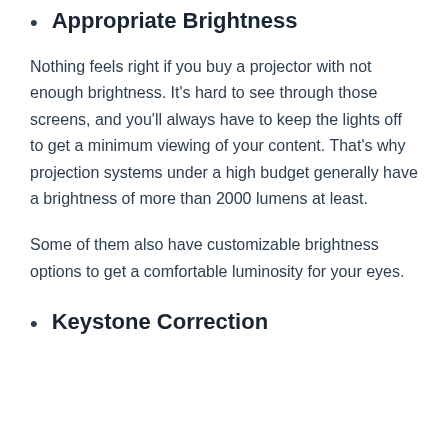Appropriate Brightness
Nothing feels right if you buy a projector with not enough brightness. It's hard to see through those screens, and you'll always have to keep the lights off to get a minimum viewing of your content. That's why projection systems under a high budget generally have a brightness of more than 2000 lumens at least.
Some of them also have customizable brightness options to get a comfortable luminosity for your eyes.
Keystone Correction